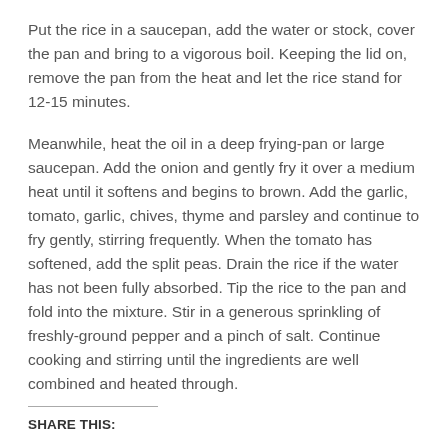Put the rice in a saucepan, add the water or stock, cover the pan and bring to a vigorous boil. Keeping the lid on, remove the pan from the heat and let the rice stand for 12-15 minutes.
Meanwhile, heat the oil in a deep frying-pan or large saucepan. Add the onion and gently fry it over a medium heat until it softens and begins to brown. Add the garlic, tomato, garlic, chives, thyme and parsley and continue to fry gently, stirring frequently. When the tomato has softened, add the split peas. Drain the rice if the water has not been fully absorbed. Tip the rice to the pan and fold into the mixture. Stir in a generous sprinkling of freshly-ground pepper and a pinch of salt. Continue cooking and stirring until the ingredients are well combined and heated through.
SHARE THIS: